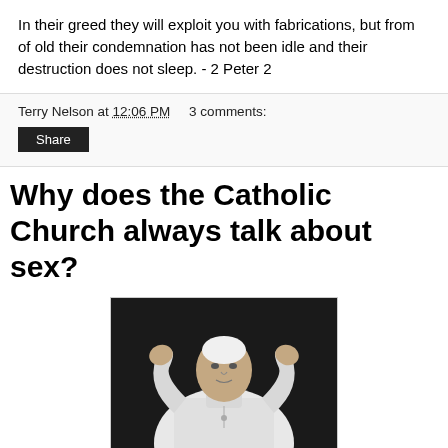In their greed they will exploit you with fabrications, but from of old their condemnation has not been idle and their destruction does not sleep. - 2 Peter 2
Terry Nelson at 12:06 PM   3 comments:
Why does the Catholic Church always talk about sex?
[Figure (photo): Black and white photograph of a pope in white vestments with both hands raised, appearing to be blessing or greeting a crowd.]